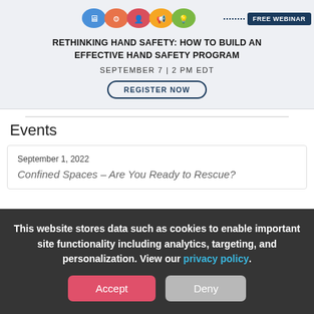[Figure (infographic): Webinar promotional banner with colorful speech bubble icons and 'FREE WEBINAR' badge, title 'RETHINKING HAND SAFETY: HOW TO BUILD AN EFFECTIVE HAND SAFETY PROGRAM', date 'SEPTEMBER 7 | 2 PM EDT', and 'REGISTER NOW' button]
Events
September 1, 2022
Confined Spaces – Are You Ready to Rescue?
This website stores data such as cookies to enable important site functionality including analytics, targeting, and personalization. View our privacy policy.
Accept  Deny